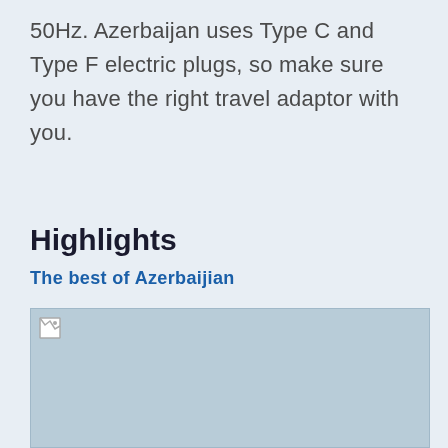50Hz. Azerbaijan uses Type C and Type F electric plugs, so make sure you have the right travel adaptor with you.
Highlights
The best of Azerbaijian
[Figure (photo): A placeholder image (broken/unloaded) representing a photo related to Azerbaijan highlights.]